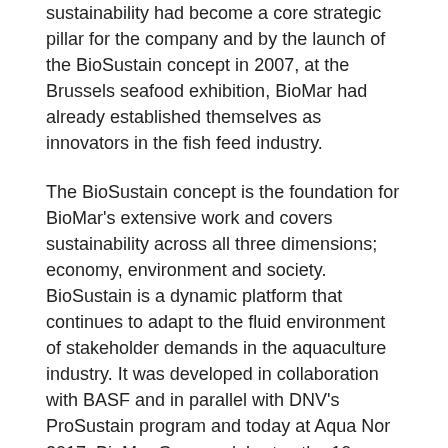sustainability had become a core strategic pillar for the company and by the launch of the BioSustain concept in 2007, at the Brussels seafood exhibition, BioMar had already established themselves as innovators in the fish feed industry.
The BioSustain concept is the foundation for BioMar's extensive work and covers sustainability across all three dimensions; economy, environment and society. BioSustain is a dynamic platform that continues to adapt to the fluid environment of stakeholder demands in the aquaculture industry. It was developed in collaboration with BASF and in parallel with DNV's ProSustain program and today at Aqua Nor 2017, BioMar Group celebrates the 10 year anniversary of this initiative.
The project was born out of the need to reduce the dependence on marine based fishmeal and fish oil and the original concept focused on fish feed solutions for salmon.
“It has long since been possible to replace fishmeal with